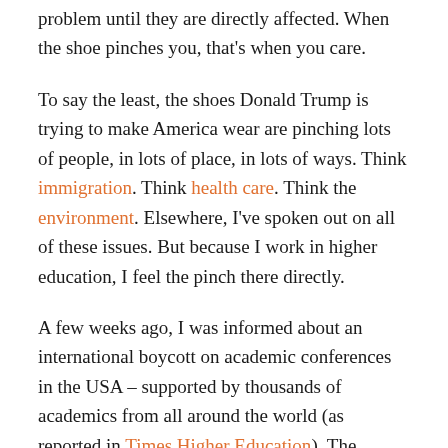problem until they are directly affected. When the shoe pinches you, that's when you care.
To say the least, the shoes Donald Trump is trying to make America wear are pinching lots of people, in lots of place, in lots of ways. Think immigration. Think health care. Think the environment. Elsewhere, I've spoken out on all of these issues. But because I work in higher education, I feel the pinch there directly.
A few weeks ago, I was informed about an international boycott on academic conferences in the USA – supported by thousands of academics from all around the world (as reported in Times Higher Education). The abortive executive order banning Muslims from seven nations, among other presidential actions, has led scholars world-wide to organize to take a stand against